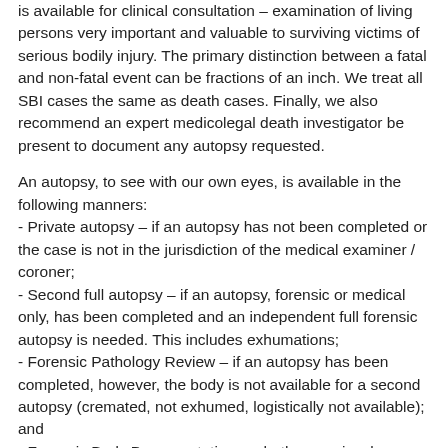is available for clinical consultation – examination of living persons very important and valuable to surviving victims of serious bodily injury. The primary distinction between a fatal and non-fatal event can be fractions of an inch. We treat all SBI cases the same as death cases. Finally, we also recommend an expert medicolegal death investigator be present to document any autopsy requested.
An autopsy, to see with our own eyes, is available in the following manners:
- Private autopsy – if an autopsy has not been completed or the case is not in the jurisdiction of the medical examiner / coroner;
- Second full autopsy – if an autopsy, forensic or medical only, has been completed and an independent full forensic autopsy is needed. This includes exhumations;
- Forensic Pathology Review – if an autopsy has been completed, however, the body is not available for a second autopsy (cremated, not exhumed, logistically not available); and
- Forensic Body Documentation – whether previously autopsied or not, and the body is available, the body can be documented by photographs, video, diagramming, and any additional evidence collection.